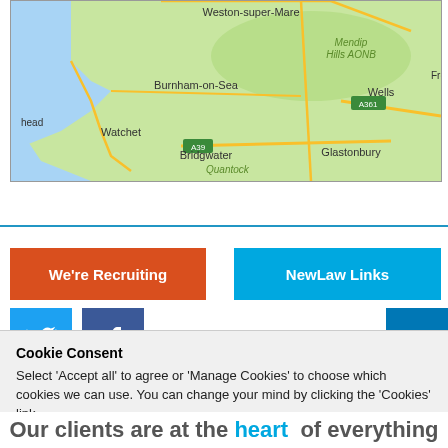[Figure (map): Google Maps excerpt showing Somerset/North Somerset area of England, including Weston-super-Mare, Mendip Hills AONB, Burnham-on-Sea, Wells, Frome, Watchet, Glastonbury, Bridgwater, Quantock, with road A361 and A39 marked.]
We're Recruiting
NewLaw Links
[Figure (logo): Twitter bird icon on blue background]
[Figure (logo): Facebook f icon on dark blue background]
[Figure (logo): LinkedIn in icon on blue background]
Cookie Consent
Select 'Accept all' to agree or 'Manage Cookies' to choose which cookies we can use. You can change your mind by clicking the 'Cookies' link.
Accept All
Manage Cookies
Our clients are at the heart of everything